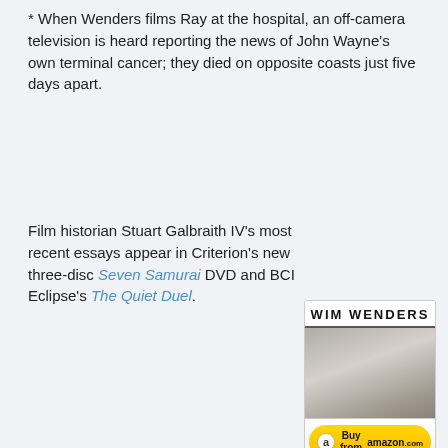* When Wenders films Ray at the hospital, an off-camera television is heard reporting the news of John Wayne's own terminal cancer; they died on opposite coasts just five days apart.
Film historian Stuart Galbraith IV's most recent essays appear in Criterion's new three-disc Seven Samurai DVD and BCI Eclipse's The Quiet Duel.
[Figure (other): Wim Wenders DVD product card with cover image, Buy from Amazon button, and content rating of 3 out of 4 stars]